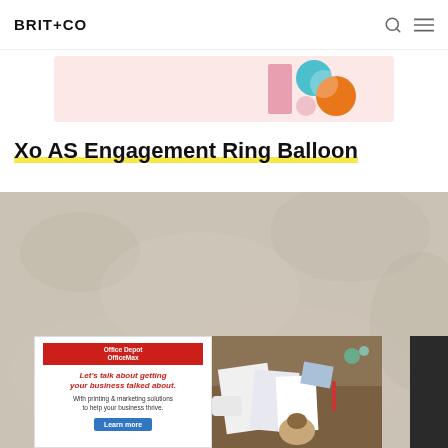BRIT+CO
[Figure (illustration): Brit+Co decorative banner ad with pink background and colorful geometric shapes including a pink rectangle, teal circle, orange circle, and pink small circle.]
Xo AS Engagement Ring Balloon
[Figure (photo): Textured stucco wall background in beige/gray, with an Office Depot OfficeMax advertisement overlay at the bottom. The ad features the Office Depot/OfficeMax logo in red, headline 'Let's talk about getting your business talked about.' in red italic, subtext 'With printing & marketing solutions to help your business thrive.' in gray, and a blue 'Learn more' button. To the right of the ad is a photo of a person arranging printed marketing materials on a brown wooden table.]